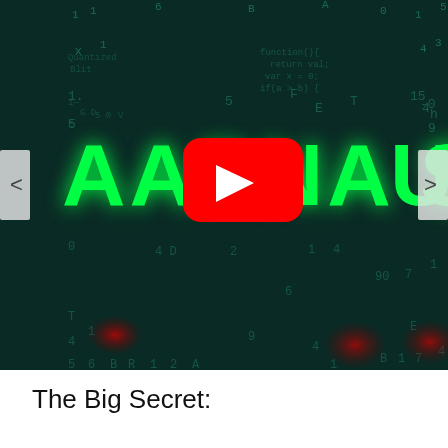[Figure (screenshot): YouTube video thumbnail showing a dark teal/green matrix-style background with floating numbers and letters. Large bright green text reads 'AAPNA S...' (partially cropped). A YouTube play button (red circle with white triangle) is overlaid in the center. Red glowing spots appear in the lower portion of the image. Navigation arrows (< and >) on the left and right sides indicate a carousel/slideshow.]
The Big Secret: